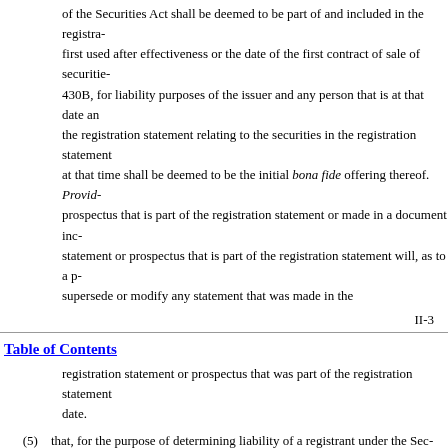of the Securities Act shall be deemed to be part of and included in the registra- first used after effectiveness or the date of the first contract of sale of securitie- 430B, for liability purposes of the issuer and any person that is at that date an the registration statement relating to the securities in the registration statement at that time shall be deemed to be the initial bona fide offering thereof. Provid- prospectus that is part of the registration statement or made in a document inc- statement or prospectus that is part of the registration statement will, as to a p- supersede or modify any statement that was made in the
II-3
Table of Contents
registration statement or prospectus that was part of the registration statement date.
(5)    that, for the purpose of determining liability of a registrant under the Sec- securities, the undersigned registrant undertakes that in a primary offering of securit- statement, regardless of the underwriting method used to sell the securities to the p- means of any of the following communications, the undersigned registrant will be a securities to such purchaser: